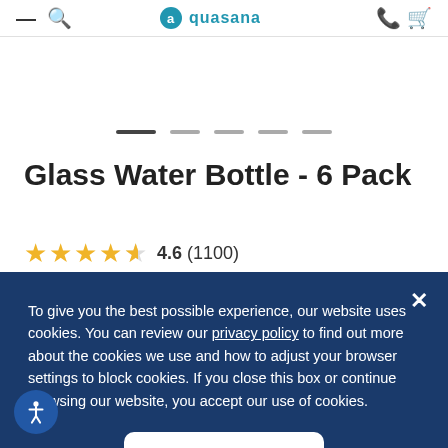aquasana
Glass Water Bottle - 6 Pack
4.6 (1100)
6-pack of Aquasana 18 oz. glass bottles with optional sleeves
To give you the best possible experience, our website uses cookies. You can review our privacy policy to find out more about the cookies we use and how to adjust your browser settings to block cookies. If you close this box or continue browsing our website, you accept our use of cookies.
Accept